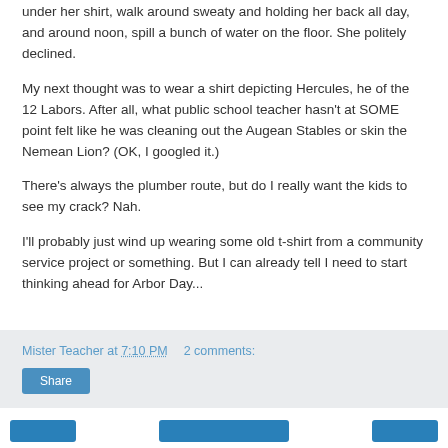under her shirt, walk around sweaty and holding her back all day, and around noon, spill a bunch of water on the floor. She politely declined.
My next thought was to wear a shirt depicting Hercules, he of the 12 Labors. After all, what public school teacher hasn't at SOME point felt like he was cleaning out the Augean Stables or skin the Nemean Lion? (OK, I googled it.)
There's always the plumber route, but do I really want the kids to see my crack? Nah.
I'll probably just wind up wearing some old t-shirt from a community service project or something. But I can already tell I need to start thinking ahead for Arbor Day...
Mister Teacher at 7:10 PM   2 comments:
Share